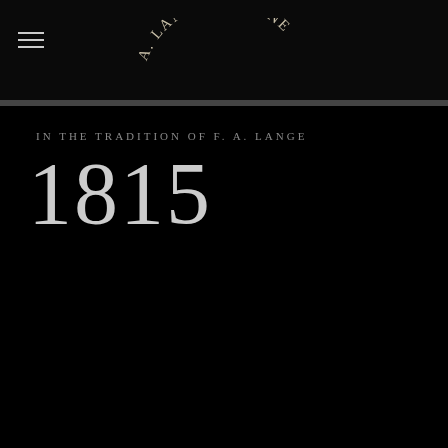A. LANGE & SÖHNE GLASHÜTTE USA
IN THE TRADITION OF F. A. LANGE
1815